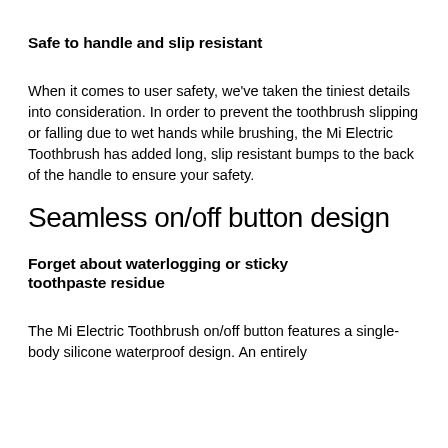Safe to handle and slip resistant
When it comes to user safety, we've taken the tiniest details into consideration. In order to prevent the toothbrush slipping or falling due to wet hands while brushing, the Mi Electric Toothbrush has added long, slip resistant bumps to the back of the handle to ensure your safety.
Seamless on/off button design
Forget about waterlogging or sticky toothpaste residue
The Mi Electric Toothbrush on/off button features a single-body silicone waterproof design. An entirely